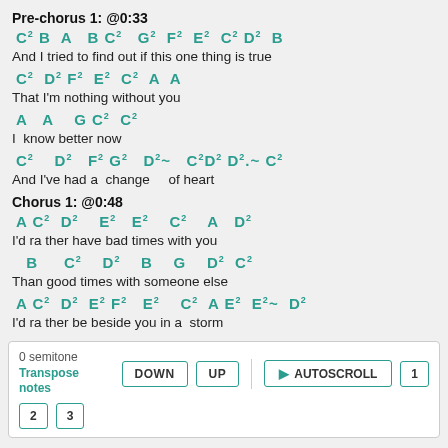Pre-chorus 1: @0:33
C² B  A   B C²   G²  F²  E²  C² D²  B
And I tried to find out if this one thing is true
C²  D² F²  E²  C²  A  A
That I'm nothing without you
A   A    G C²  C²
I  know better now
C²    D²   F² G²   D²~   C²D² D².~ C²
And I've had a  change    of heart
Chorus 1: @0:48
A C²  D²    E²   E²    C²    A   D²
I'd ra ther have bad times with you
B     C²     D²    B    G    D²  C²
Than good times with someone else
A C²  D²  E² F²   E²    C²  A E²  E²~  D²
I'd ra ther be beside you in a  storm
0 semitone
Transpose notes  DOWN  UP  AUTOSCROLL  1  2  3